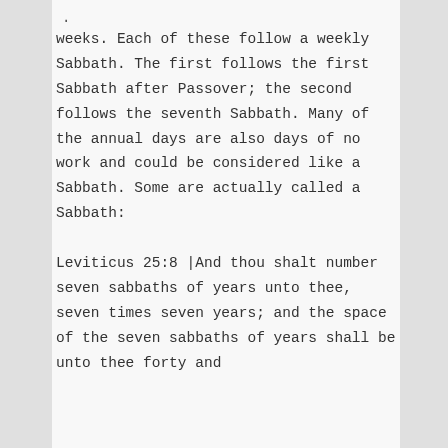weeks. Each of these follow a weekly Sabbath. The first follows the first Sabbath after Passover; the second follows the seventh Sabbath. Many of the annual days are also days of no work and could be considered like a Sabbath. Some are actually called a Sabbath:
Leviticus 25:8 |And thou shalt number seven sabbaths of years unto thee, seven times seven years; and the space of the seven sabbaths of years shall be unto thee forty and